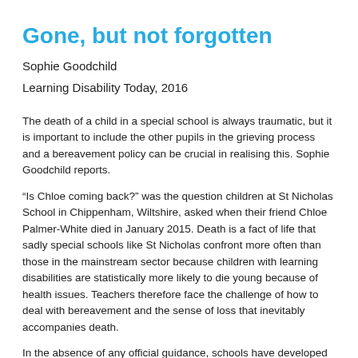Gone, but not forgotten
Sophie Goodchild
Learning Disability Today, 2016
The death of a child in a special school is always traumatic, but it is important to include the other pupils in the grieving process and a bereavement policy can be crucial in realising this. Sophie Goodchild reports.
“Is Chloe coming back?” was the question children at St Nicholas School in Chippenham, Wiltshire, asked when their friend Chloe Palmer-White died in January 2015. Death is a fact of life that sadly special schools like St Nicholas confront more often than those in the mainstream sector because children with learning disabilities are statistically more likely to die young because of health issues. Teachers therefore face the challenge of how to deal with bereavement and the sense of loss that inevitably accompanies death.
In the absence of any official guidance, schools have developed their own policies and approaches to bereavement. Memory gardens, giant